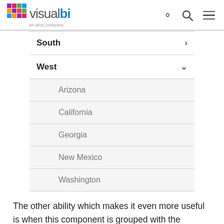visual bi — an atos company
South >
West v
Arizona
California
Georgia
New Mexico
Washington
The other ability which makes it even more useful is when this component is grouped with the 'Authoring' Technical Component. Application Designers can define a set of